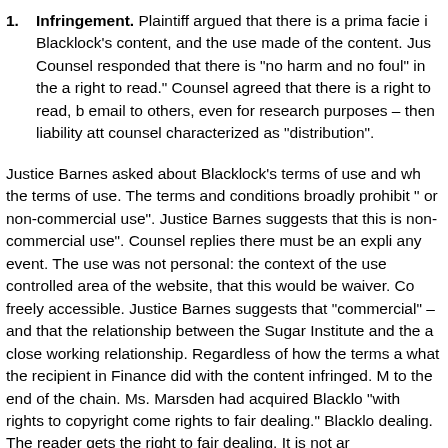1. Infringement. Plaintiff argued that there is a prima facie i Blacklock's content, and the use made of the content. Jus Counsel responded that there is "no harm and no foul" in the a right to read." Counsel agreed that there is a right to read, b email to others, even for research purposes – then liability att counsel characterized as "distribution".
Justice Barnes asked about Blacklock's terms of use and wh the terms of use. The terms and conditions broadly prohibit " or non-commercial use". Justice Barnes suggests that this is non-commercial use". Counsel replies there must be an expli any event. The use was not personal: the context of the use controlled area of the website, that this would be waiver. Co freely accessible. Justice Barnes suggests that "commercial" – and that the relationship between the Sugar Institute and the a close working relationship. Regardless of how the terms a what the recipient in Finance did with the content infringed. M to the end of the chain. Ms. Marsden had acquired Blacklo "with rights to copyright come rights to fair dealing." Blacklo dealing. The reader gets the right to fair dealing. It is not ar